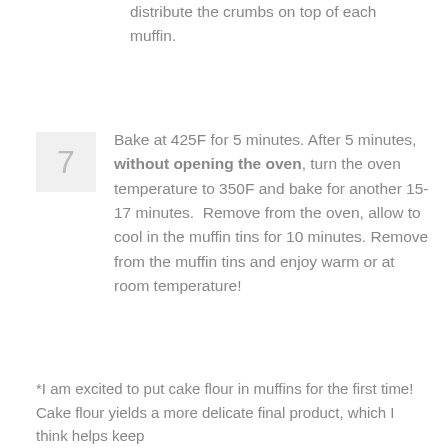distribute the crumbs on top of each muffin.
7  Bake at 425F for 5 minutes. After 5 minutes, without opening the oven, turn the oven temperature to 350F and bake for another 15-17 minutes.  Remove from the oven, allow to cool in the muffin tins for 10 minutes. Remove from the muffin tins and enjoy warm or at room temperature!
*I am excited to put cake flour in muffins for the first time! Cake flour yields a more delicate final product, which I think helps keep